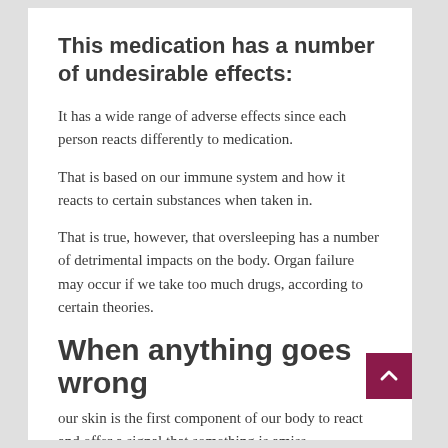This medication has a number of undesirable effects:
It has a wide range of adverse effects since each person reacts differently to medication.
That is based on our immune system and how it reacts to certain substances when taken in.
That is true, however, that oversleeping has a number of detrimental impacts on the body. Organ failure may occur if we take too much drugs, according to certain theories.
When anything goes wrong
our skin is the first component of our body to react and offer a signal that something is amiss.